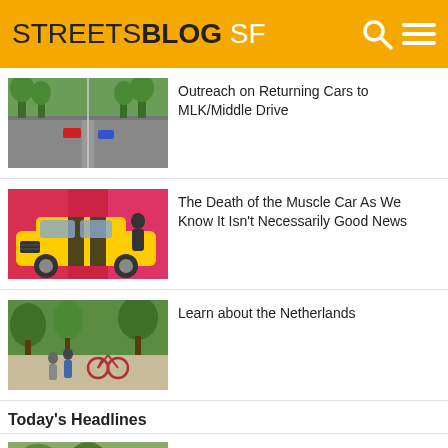STREETSBLOG SF
[Figure (photo): Road with trees on both sides and cars in the distance]
Outreach on Returning Cars to MLK/Middle Drive
[Figure (photo): Yellow muscle car (Dodge Charger) with flame graphics, woman in background]
The Death of the Muscle Car As We Know It Isn’t Necessarily Good News
[Figure (photo): Street scene with pedestrians and bicycles, Netherlands-style]
Learn about the Netherlands
Today’s Headlines
[Figure (photo): Street scene thumbnail]
Op-ed: SB 917 Fails — Yet it Succeeds